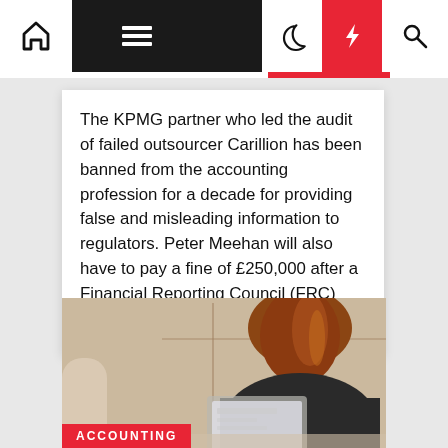Navigation bar with home, menu, moon, lightning, and search icons
The KPMG partner who led the audit of failed outsourcer Carillion has been banned from the accounting profession for a decade for providing false and misleading information to regulators. Peter Meehan will also have to pay a fine of £250,000 after a Financial Reporting Council (FRC) tribunal found that he […]
[Figure (photo): Woman with red/auburn hair seen from behind, sitting at a laptop in an office or workspace with windows in the background. An 'ACCOUNTING' red label tag appears at the bottom left of the image.]